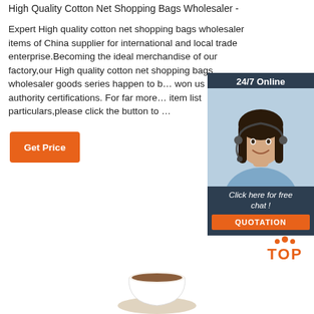High Quality Cotton Net Shopping Bags Wholesaler -
Expert High quality cotton net shopping bags wholesaler items of China supplier for international and local trade enterprise.Becoming the ideal merchandise of our factory,our High quality cotton net shopping bags wholesaler goods series happen to b... won us qualified authority certifications. For far more... item list particulars,please click the button to …
[Figure (other): Orange 'Get Price' button]
[Figure (other): 24/7 Online chat widget with photo of customer service representative wearing headset, 'Click here for free chat!' text, and orange QUOTATION button]
[Figure (logo): Orange TOP button with dot triangle above the word TOP]
[Figure (photo): Bottom of coffee cup visible at the bottom of the page]